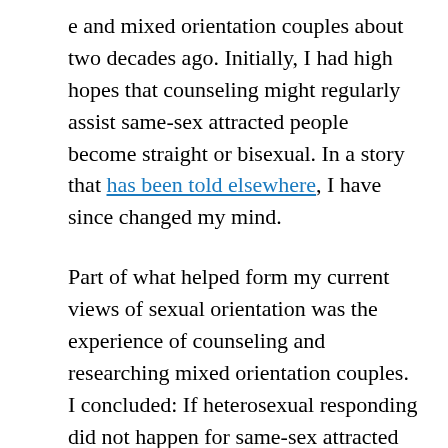e and mixed orientation couples about two decades ago. Initially, I had high hopes that counseling might regularly assist same-sex attracted people become straight or bisexual. In a story that has been told elsewhere, I have since changed my mind.
Part of what helped form my current views of sexual orientation was the experience of counseling and researching mixed orientation couples. I concluded: If heterosexual responding did not happen for same-sex attracted people in that context, it probably wasn't going to happen at all. For couples already married, I decided to work with them to